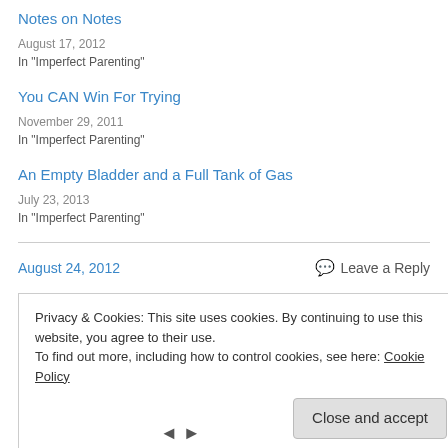Notes on Notes
August 17, 2012
In "Imperfect Parenting"
You CAN Win For Trying
November 29, 2011
In "Imperfect Parenting"
An Empty Bladder and a Full Tank of Gas
July 23, 2013
In "Imperfect Parenting"
August 24, 2012
Leave a Reply
Privacy & Cookies: This site uses cookies. By continuing to use this website, you agree to their use.
To find out more, including how to control cookies, see here: Cookie Policy
Close and accept